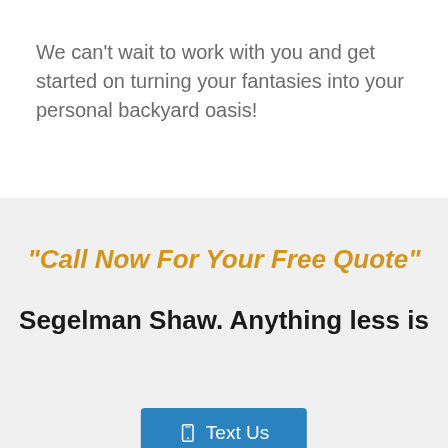We can't wait to work with you and get started on turning your fantasies into your personal backyard oasis!
“Call Now For Your Free Quote”
Segelman Shaw. Anything less is
[Figure (other): Blue 'Text Us' button with phone icon and downward pointing arrow/tooltip indicator]